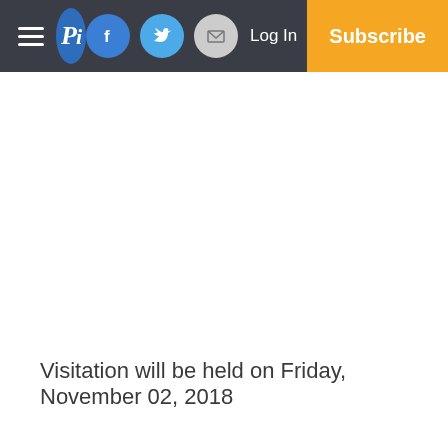Pi — Log In — Subscribe
Visitation will be held on Friday, November 02, 2018